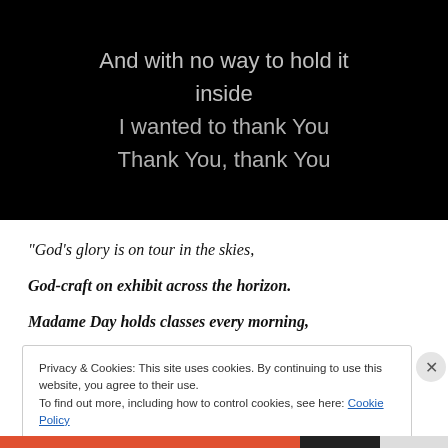[Figure (screenshot): Video screenshot with black background showing song/poem lyrics in gray text: 'And with no way to hold it inside / I wanted to thank You / Thank You, thank You']
“God’s glory is on tour in the skies,

God-craft on exhibit across the horizon.

Madame Day holds classes every morning,
Privacy & Cookies: This site uses cookies. By continuing to use this website, you agree to their use.
To find out more, including how to control cookies, see here: Cookie Policy